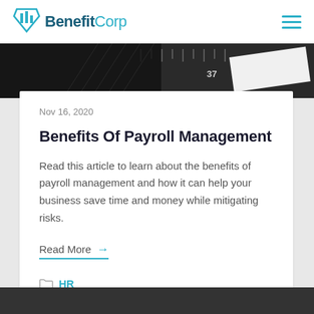BenefitCorp
[Figure (photo): Close-up black and white photo of a calculator or measuring tape with numbers 37, 40, 45 visible]
Nov 16, 2020
Benefits Of Payroll Management
Read this article to learn about the benefits of payroll management and how it can help your business save time and money while mitigating risks.
Read More →
HR